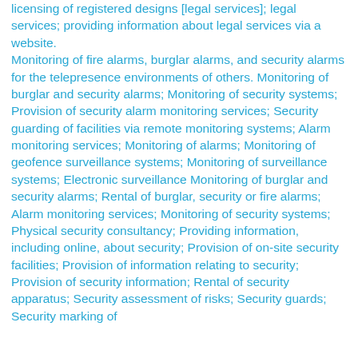licensing of registered designs [legal services]; legal services; providing information about legal services via a website. Monitoring of fire alarms, burglar alarms, and security alarms for the telepresence environments of others. Monitoring of burglar and security alarms; Monitoring of security systems; Provision of security alarm monitoring services; Security guarding of facilities via remote monitoring systems; Alarm monitoring services; Monitoring of alarms; Monitoring of geofence surveillance systems; Monitoring of surveillance systems; Electronic surveillance Monitoring of burglar and security alarms; Rental of burglar, security or fire alarms; Alarm monitoring services; Monitoring of security systems; Physical security consultancy; Providing information, including online, about security; Provision of on-site security facilities; Provision of information relating to security; Provision of security information; Rental of security apparatus; Security assessment of risks; Security guards; Security marking of